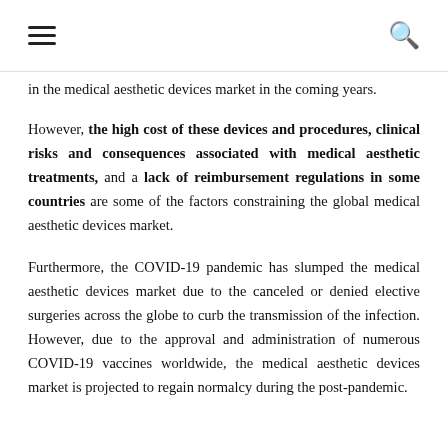≡   [search icon]
in the medical aesthetic devices market in the coming years.
However, the high cost of these devices and procedures, clinical risks and consequences associated with medical aesthetic treatments, and a lack of reimbursement regulations in some countries are some of the factors constraining the global medical aesthetic devices market.
Furthermore, the COVID-19 pandemic has slumped the medical aesthetic devices market due to the canceled or denied elective surgeries across the globe to curb the transmission of the infection. However, due to the approval and administration of numerous COVID-19 vaccines worldwide, the medical aesthetic devices market is projected to regain normalcy during the post-pandemic.